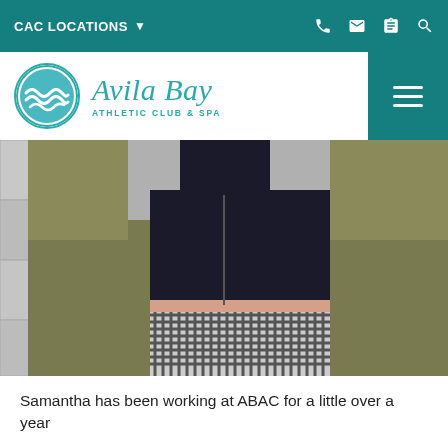CAC LOCATIONS
[Figure (logo): Avila Bay Athletic Club & Spa logo with teal circular wave emblem and stylized text]
[Figure (photo): Close-up photo of a person wearing an olive green jacket, black crop top, and gingham/checkered skirt, standing on stone steps]
Samantha has been working at ABAC for a little over a year